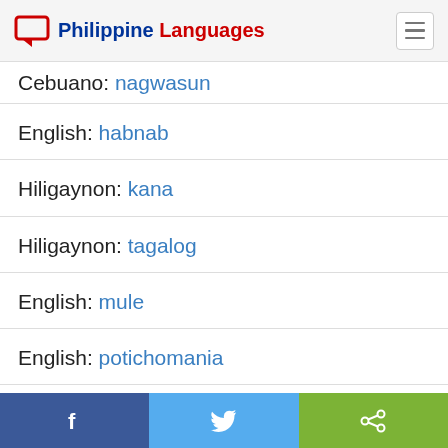Philippine Languages
Cebuano: nagwasun
English: habnab
Hiligaynon: kana
Hiligaynon: tagalog
English: mule
English: potichomania
English: sassorol
Share buttons: Facebook, Twitter, Share